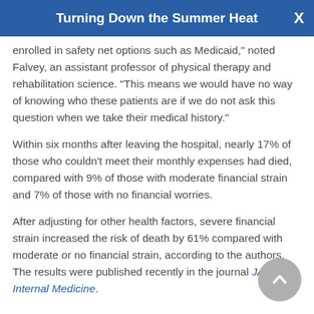Turning Down the Summer Heat
enrolled in safety net options such as Medicaid," noted Falvey, an assistant professor of physical therapy and rehabilitation science. "This means we would have no way of knowing who these patients are if we do not ask this question when we take their medical history."
Within six months after leaving the hospital, nearly 17% of those who couldn't meet their monthly expenses had died, compared with 9% of those with moderate financial strain and 7% of those with no financial worries.
After adjusting for other health factors, severe financial strain increased the risk of death by 61% compared with moderate or no financial strain, according to the authors. The results were published recently in the journal JAMA Internal Medicine.